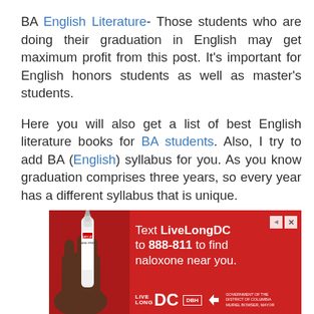BA English Literature- Those students who are doing their graduation in English may get maximum profit from this post. It's important for English honors students as well as master's students.
Here you will also get a list of best English literature books for BA students. Also, I try to add BA (English) syllabus for you. As you know graduation comprises three years, so every year has a different syllabus that is unique.
[Figure (other): Red advertisement banner: Text LiveLongDC to 888-811 to find naloxone near you. Features a hand holding a Narcan nasal spray, with Live Long DC, DBH and DC Government logos.]